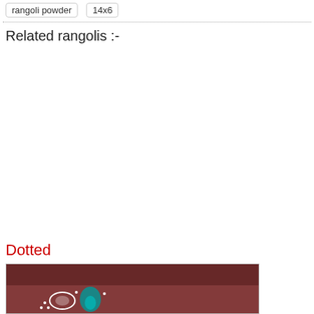rangoli powder
14x6
Related rangolis :-
Dotted
[Figure (photo): A photo of a dotted rangoli design on a reddish-brown ground, showing colorful floral/peacock patterns in white, teal, and pink]